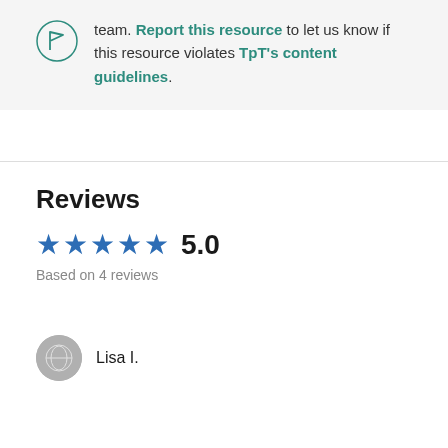team. Report this resource to let us know if this resource violates TpT's content guidelines.
Reviews
5.0
Based on 4 reviews
Lisa I.